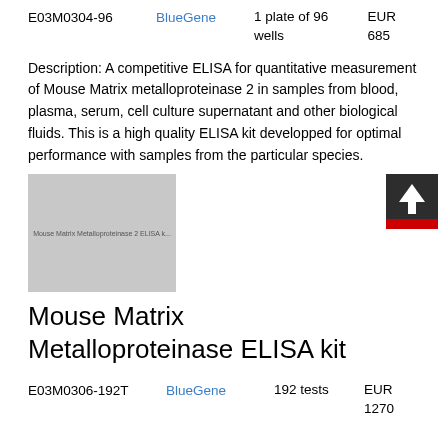| Product ID | Supplier | Quantity | Price |
| --- | --- | --- | --- |
| E03M0304-96 | BlueGene | 1 plate of 96 wells | EUR 685 |
Description: A competitive ELISA for quantitative measurement of Mouse Matrix metalloproteinase 2 in samples from blood, plasma, serum, cell culture supernatant and other biological fluids. This is a high quality ELISA kit developped for optimal performance with samples from the particular species.
[Figure (photo): Product image placeholder for Mouse Matrix metalloproteinase 2 ELISA kit]
Mouse Matrix Metalloproteinase ELISA kit
| Product ID | Supplier | Quantity | Price |
| --- | --- | --- | --- |
| E03M0306-192T | BlueGene | 192 tests | EUR 1270 |